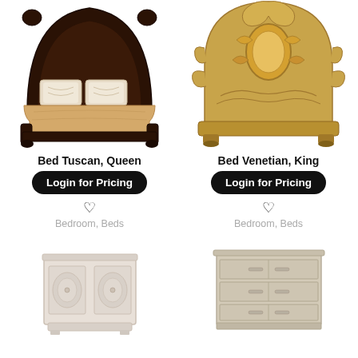[Figure (photo): Ornate dark wood Tuscan Queen bed with scrolled headboard and peach bedding]
[Figure (photo): Ornate antique gold Venetian King headboard with floral painted design]
Bed Tuscan, Queen
Login for Pricing
Bedroom, Beds
Bed Venetian, King
Login for Pricing
Bedroom, Beds
[Figure (photo): White/cream nightstand with circular panel doors]
[Figure (photo): Beige/light wood three-drawer dresser or nightstand]